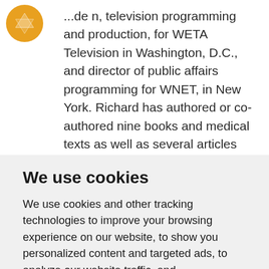...ade n, television programming and production, for WETA Television in Washington, D.C., and director of public affairs programming for WNET, in New York. Richard has authored or co-authored nine books and medical texts as well as several articles for national publications.
[Figure (photo): Partial photo of a person with white/grey hair, cropped at the bottom of the visible page area]
Flo Stone is President & Founder of the...
We use cookies
We use cookies and other tracking technologies to improve your browsing experience on our website, to show you personalized content and targeted ads, to analyze our website traffic, and